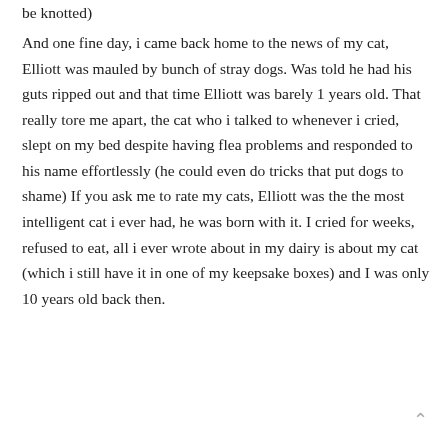be knotted)
And one fine day, i came back home to the news of my cat, Elliott was mauled by bunch of stray dogs. Was told he had his guts ripped out and that time Elliott was barely 1 years old. That really tore me apart, the cat who i talked to whenever i cried, slept on my bed despite having flea problems and responded to his name effortlessly (he could even do tricks that put dogs to shame) If you ask me to rate my cats, Elliott was the the most intelligent cat i ever had, he was born with it. I cried for weeks, refused to eat, all i ever wrote about in my dairy is about my cat (which i still have it in one of my keepsake boxes) and I was only 10 years old back then.